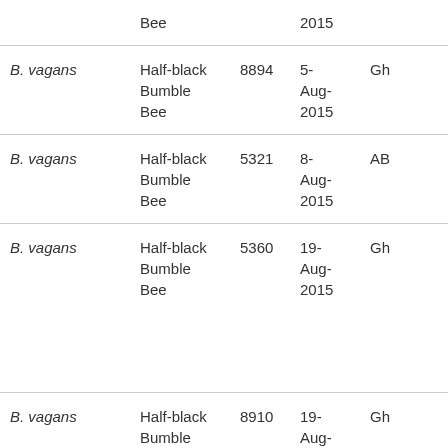| Species | Common Name | ID | Date | Location |
| --- | --- | --- | --- | --- |
|  | Bee |  | 2015 |  |
| B. vagans | Half-black Bumble Bee | 8894 | 5-Aug-2015 | Gh |
| B. vagans | Half-black Bumble Bee | 5321 | 8-Aug-2015 | AB |
| B. vagans | Half-black Bumble Bee | 5360 | 19-Aug-2015 | Gh |
| B. vagans | Half-black Bumble Bee | 8910 | 19-Aug- | Gh |